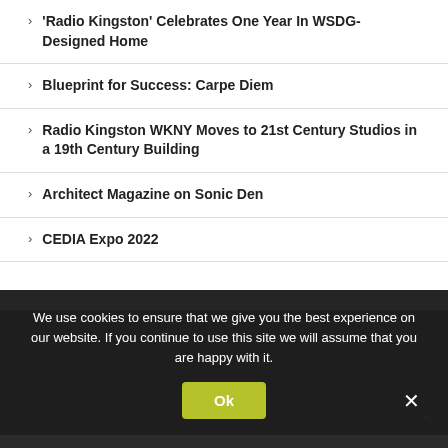'Radio Kingston' Celebrates One Year In WSDG-Designed Home
Blueprint for Success: Carpe Diem
Radio Kingston WKNY Moves to 21st Century Studios in a 19th Century Building
Architect Magazine on Sonic Den
CEDIA Expo 2022
We use cookies to ensure that we give you the best experience on our website. If you continue to use this site we will assume that you are happy with it.
Ok